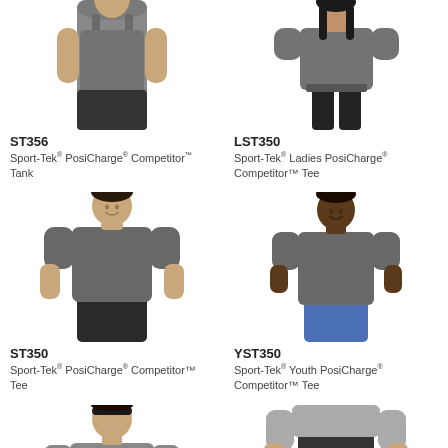[Figure (photo): Man wearing dark grey Sport-Tek PosiCharge Competitor Tank, cropped at torso]
ST356
Sport-Tek® PosiCharge® Competitor™ Tank
[Figure (photo): Woman wearing dark grey Sport-Tek Ladies PosiCharge Competitor Tee with black pants]
LST350
Sport-Tek® Ladies PosiCharge® Competitor™ Tee
[Figure (photo): Man wearing dark grey Sport-Tek PosiCharge Competitor Tee with black shorts, full body]
ST350
Sport-Tek® PosiCharge® Competitor™ Tee
[Figure (photo): Youth boy wearing dark grey Sport-Tek Youth PosiCharge Competitor Tee with blue shorts]
YST350
Sport-Tek® Youth PosiCharge® Competitor™ Tee
[Figure (photo): Man with headband, partial view, bottom of page left]
[Figure (photo): Man in grey shirt and dark shorts, partial view, bottom of page right]